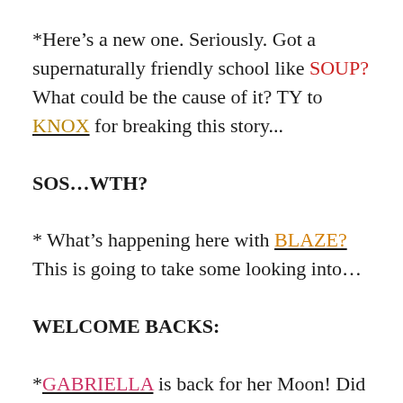*Here’s a new one. Seriously. Got a supernaturally friendly school like SOUP? What could be the cause of it? TY to KNOX for breaking this story...
SOS…WTH?
* What’s happening here with BLAZE?  This is going to take some looking into…
WELCOME BACKS:
*GABRIELLA is back for her Moon! Did